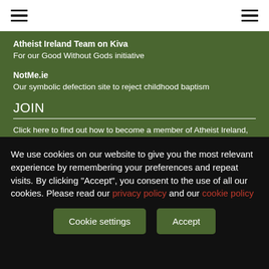≡  ≡
Atheist Ireland Team on Kiva
For our Good Without Gods initiative
NotMe.ie
Our symbolic defection site to reject childhood baptism
JOIN
Click here to find out how to become a member of Atheist Ireland, and help us to bring about an ethical, secular State
🔒 View our Privacy Policy
CONNECT
We use cookies on our website to give you the most relevant experience by remembering your preferences and repeat visits. By clicking "Accept", you consent to the use of all our cookies. Please read our privacy policy and our cookie policy
Cookie settings    Accept